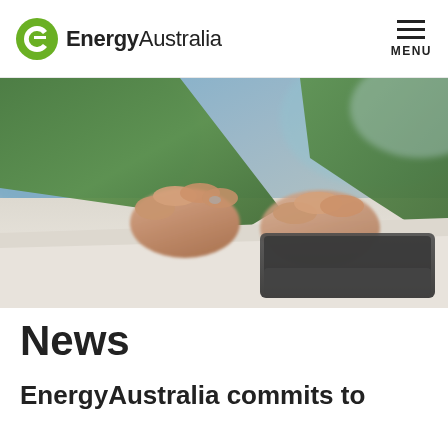[Figure (logo): EnergyAustralia logo with green circular E icon and text 'EnergyAustralia']
[Figure (photo): Close-up photo of person wearing green jumper typing or tapping on a tablet device on a table]
News
EnergyAustralia commits to